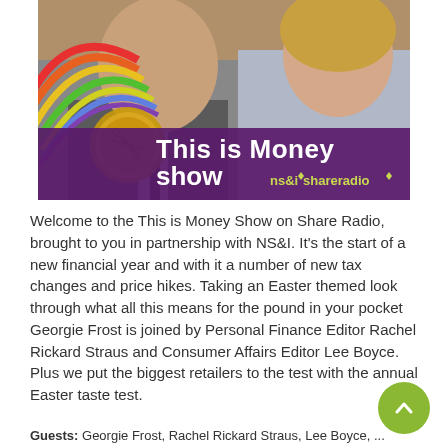[Figure (photo): Promotional image for 'This is Money show' on Share Radio in partnership with NS&I. Shows two people (man in suit with tie, woman with blonde hair) with a purple banner overlaid reading 'This is Money show' along with NS&I and Share Radio logos and a gold coin medal graphic.]
Welcome to the This is Money Show on Share Radio, brought to you in partnership with NS&I. It's the start of a new financial year and with it a number of new tax changes and price hikes. Taking an Easter themed look through what all this means for the pound in your pocket Georgie Frost is joined by Personal Finance Editor Rachel Rickard Straus and Consumer Affairs Editor Lee Boyce. Plus we put the biggest retailers to the test with the annual Easter taste test.
Guests: Georgie Frost, Rachel Rickard Straus, Lee Boyce, ...